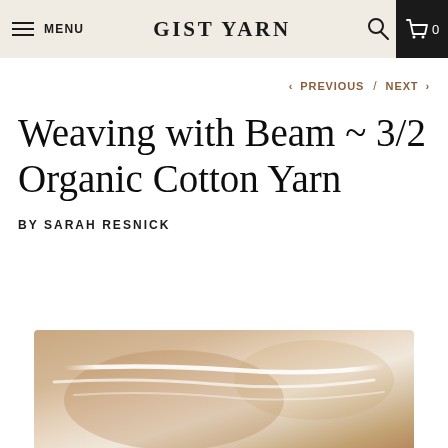MENU  GIST YARN  0
< PREVIOUS / NEXT >
Weaving with Beam ~ 3/2 Organic Cotton Yarn
BY SARAH RESNICK
[Figure (photo): Close-up photo of weaving with white thread on a loom, showing wooden beam and fiber texture]